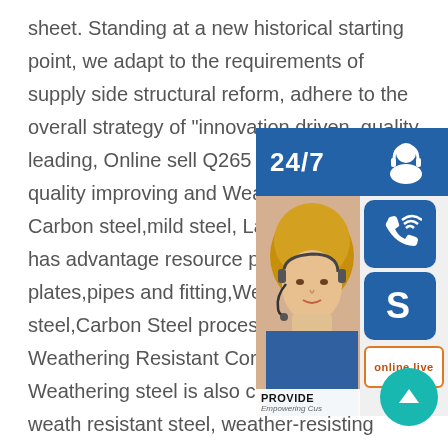sheet. Standing at a new historical starting point, we adapt to the requirements of supply side structural reform, adhere to the overall strategy of "innovation driven, quality leading, Online sell Q265 corten steel sheet quality improving and Weathering steel Carbon steel,mild steel, Lagun Machinery has advantage resources products, plates,pipes and fitting,Weathering steel,Carbon Steel processing & services, Weathering Resistant Corten Steel Coil, Weathering steel is also called Corten steel, weather resistant steel, weather-resisting steel, or atmospheric corrosion resisting steel. It is characterized by adding a small amount of Cu, P, Cr, Ni and other alloy anti-corrosion elements to the steel to form a oxide layer of
[Figure (infographic): Customer service sidebar widget with 24/7 label, headset icon box, phone icon box, Skype icon box, photo of customer service agent with headset, PROVIDE/Empowering Customers text bar, and online live button]